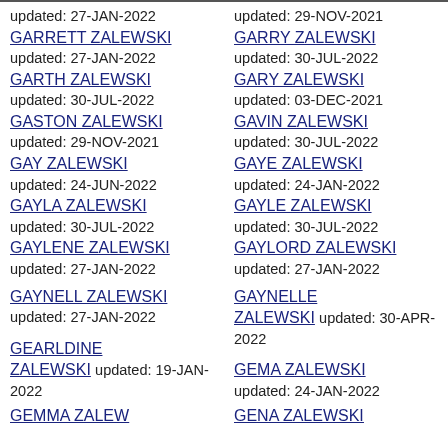updated: 27-JAN-2022
GARRETT ZALEWSKI
updated: 27-JAN-2022
GARTH ZALEWSKI
updated: 30-JUL-2022
GASTON ZALEWSKI
updated: 29-NOV-2021
GAY ZALEWSKI
updated: 24-JUN-2022
GAYLA ZALEWSKI
updated: 30-JUL-2022
GAYLENE ZALEWSKI
updated: 27-JAN-2022
GAYNELL ZALEWSKI
updated: 27-JAN-2022
GEARLDINE ZALEWSKI updated: 19-JAN-2022
GEMMA ZALEWSKI
updated: 29-NOV-2021
GARRY ZALEWSKI
updated: 30-JUL-2022
GARY ZALEWSKI
updated: 03-DEC-2021
GAVIN ZALEWSKI
updated: 30-JUL-2022
GAYE ZALEWSKI
updated: 24-JAN-2022
GAYLE ZALEWSKI
updated: 30-JUL-2022
GAYLORD ZALEWSKI
updated: 27-JAN-2022
GAYNELLE ZALEWSKI updated: 30-APR-2022
GEMA ZALEWSKI
updated: 24-JAN-2022
GENA ZALEWSKI